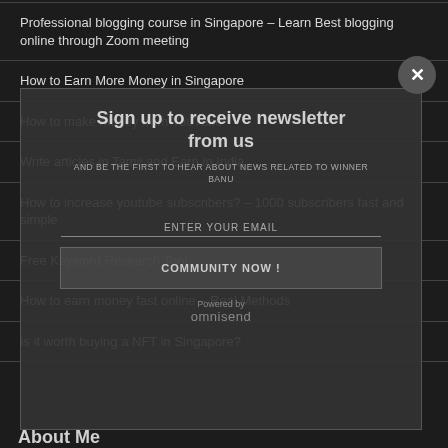Professional blogging course in Singapore – Learn Best blogging online through Zoom meeting
How to Earn More Money in Singapore
How to make money from YouTube
Write articles in Tamil and Earn in India
How to increase youtube subscribers? – 1000 subscribers fast and simple
Free Keyword Research Tool
How to earn money fast online – Real Methods
Is it worth buying a NFT in Singapore?
[Figure (screenshot): Newsletter modal popup overlay with text 'Sign up to receive newsletter from us', 'AND BE THE FIRST TO HEAR ABOUT NEWS RELATED TO WINNER BANU', an email input field, a 'JOIN OUR COMMUNITY NOW!' button, and 'Powered by omnisend' footer. Has an X close button in top right.]